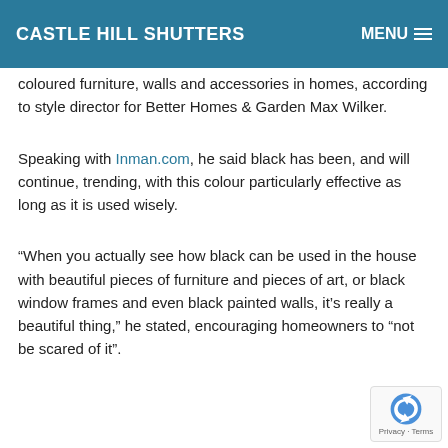CASTLE HILL SHUTTERS | MENU
coloured furniture, walls and accessories in homes, according to style director for Better Homes & Garden Max Wilker.
Speaking with Inman.com, he said black has been, and will continue, trending, with this colour particularly effective as long as it is used wisely.
“When you actually see how black can be used in the house with beautiful pieces of furniture and pieces of art, or black window frames and even black painted walls, it’s really a beautiful thing,” he stated, encouraging homeowners to “not be scared of it”.